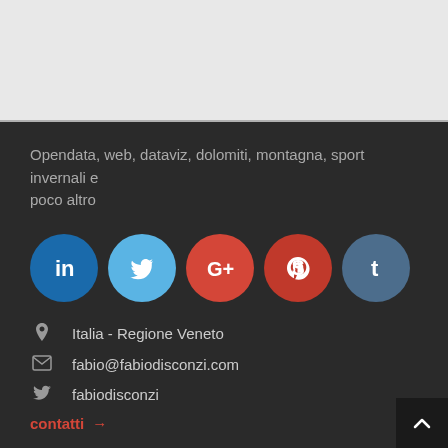Opendata, web, dataviz, dolomiti, montagna, sport invernali e poco altro
[Figure (other): Social media icon circles: LinkedIn (blue), Twitter (light blue), Google+ (red-orange), Pinterest (dark red), Tumblr (steel blue)]
Italia - Regione Veneto
fabio@fabiodisconzi.com
fabiodisconzi
contatti →